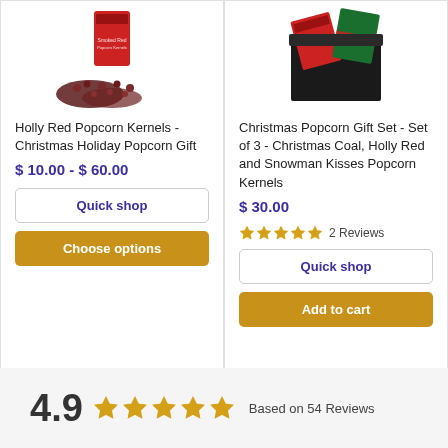[Figure (photo): Holly Red Popcorn Kernels product photo - red bag with red popcorn kernels spilled out]
Holly Red Popcorn Kernels - Christmas Holiday Popcorn Gift
$ 10.00 - $ 60.00
Quick shop
Choose options
[Figure (photo): Christmas Popcorn Gift Set product photo - black gift box with red and green packaging]
Christmas Popcorn Gift Set - Set of 3 - Christmas Coal, Holly Red and Snowman Kisses Popcorn Kernels
$ 30.00
★★★★★ 2 Reviews
Quick shop
Add to cart
4.9 ★★★★★ Based on 54 Reviews